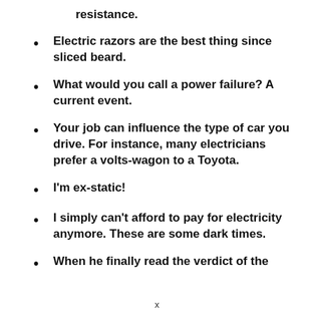resistance.
Electric razors are the best thing since sliced beard.
What would you call a power failure? A current event.
Your job can influence the type of car you drive. For instance, many electricians prefer a volts-wagon to a Toyota.
I'm ex-static!
I simply can't afford to pay for electricity anymore. These are some dark times.
When he finally read the verdict of the
x